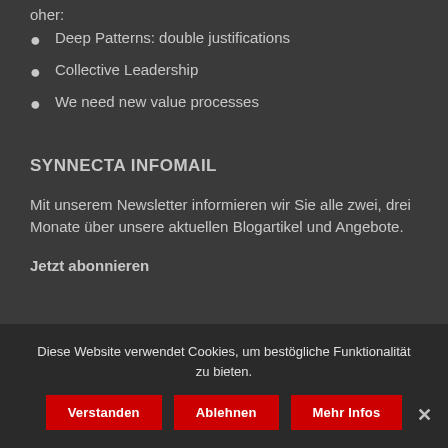oher:
Deep Patterns: double justifications
Collective Leadership
We need new value processes
SYNNECTA INFOMAIL
Mit unserem Newsletter informieren wir Sie alle zwei, drei Monate über unsere aktuellen Blogartikel und Angebote.
Jetzt abonnieren
Diese Website verwendet Cookies, um bestögliche Funktionalität zu bieten.
Verstanden    Ablehnen    Mehr Infos